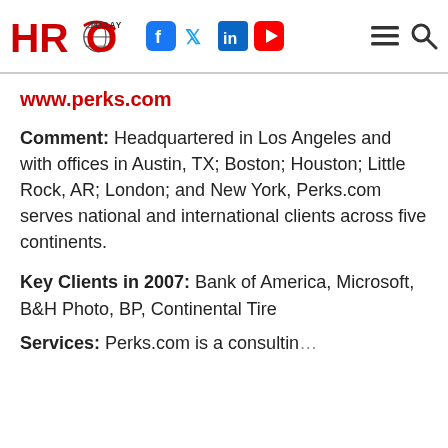HRO TODAY — www.perks.com — [navigation icons: Facebook, Twitter, LinkedIn, YouTube, menu, search]
www.perks.com
Comment: Headquartered in Los Angeles and with offices in Austin, TX; Boston; Houston; Little Rock, AR; London; and New York, Perks.com serves national and international clients across five continents.
Key Clients in 2007: Bank of America, Microsoft, B&H Photo, BP, Continental Tire
Services: Perks.com is a consulting...